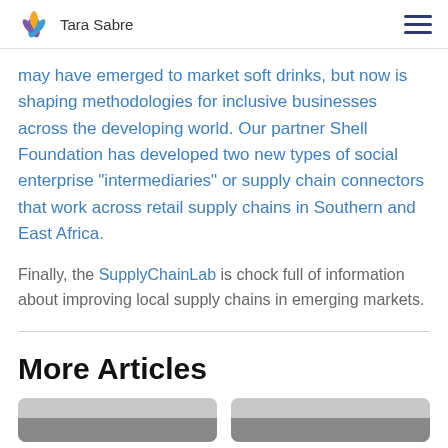Tara Sabre
may have emerged to market soft drinks, but now is shaping methodologies for inclusive businesses across the developing world. Our partner Shell Foundation has developed two new types of social enterprise “intermediaries” or supply chain connectors that work across retail supply chains in Southern and East Africa.
Finally, the SupplyChainLab is chock full of information about improving local supply chains in emerging markets.
More Articles